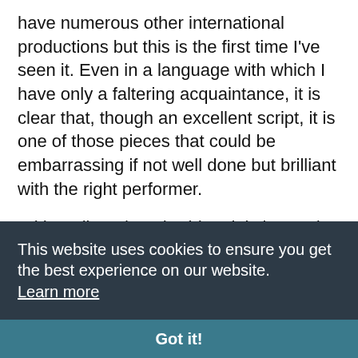have numerous other international productions but this is the first time I've seen it. Even in a language with which I have only a faltering acquaintance, it is clear that, though an excellent script, it is one of those pieces that could be embarrassing if not well done but brilliant with the right performer.
With Melina Theocharidou, it is in good hands. She develops an excellent rapport with her audience and subtly suggests the development from seven year old through teenage years. Without gimmicks, minimal and shadowed, she creates a relaxed warmth and easy participation.
It's a show that by its specific nature becomes specific to its audience. Its list of one million
This website uses cookies to ensure you get the best experience on our website. Learn more
Got it!